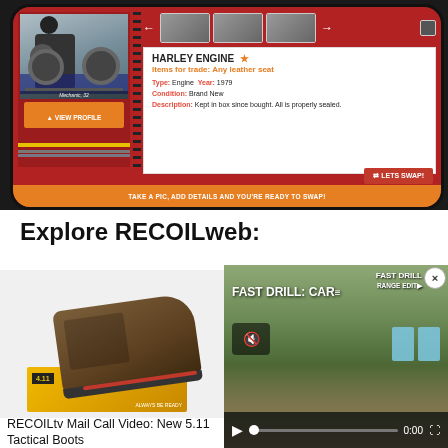[Figure (screenshot): Mobile app screenshot on a tablet showing a swap/trade interface for a Harley Engine item. Includes profile photo of a mechanic, item details, and a 'LETS SWAP!' button. Banner reads: TAKE A PIC, ADD DETAILS AND YOU'RE READY TO SWAP!]
Explore RECOILweb:
[Figure (photo): Photo of 5.11 Tactical Boots displayed on a yellow shoe box]
RECOILtv Mail Call Video: New 5.11 Tactical Boots
[Figure (screenshot): Video player screenshot showing 'FAST DRILL: CAR...' video with play controls, mute button, timestamp 0:00, and shooting targets visible in background]